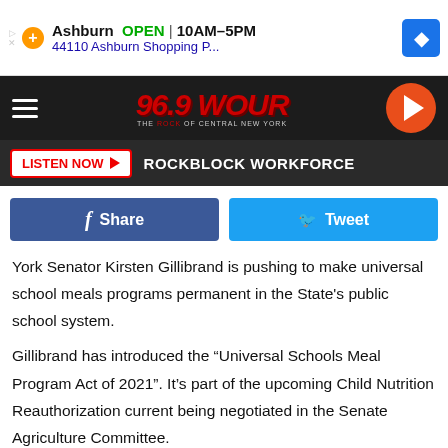[Figure (screenshot): Top advertisement banner: Ashburn OPEN 10AM-5PM, 44110 Ashburn Shopping P...]
[Figure (logo): 96.9 WOUR The Rock of Central New York radio station logo on dark background with hamburger menu and play button]
LISTEN NOW   ROCKBLOCK WORKFORCE
[Figure (screenshot): Facebook Share button and Twitter Tweet button]
York Senator Kirsten Gillibrand is pushing to make universal school meals programs permanent in the State's public school system.
Gillibrand has introduced the “Universal Schools Meal Program Act of 2021”. It’s part of the upcoming Child Nutrition Reauthorization current being negotiated in the Senate Agriculture Committee.
[Figure (screenshot): Bottom advertisement banner: Ashburn OPEN 8AM-10PM, 44110 Ashburn Shopping P...]
The le… …rsal